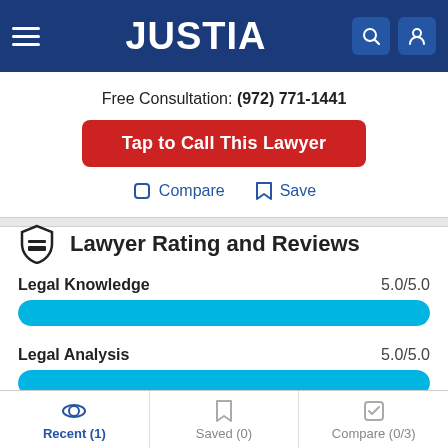JUSTIA
Free Consultation: (972) 771-1441
Tap to Call This Lawyer
Compare  Save
Lawyer Rating and Reviews
Legal Knowledge  5.0/5.0
[Figure (bar-chart): Legal Knowledge Rating]
Legal Analysis  5.0/5.0
[Figure (bar-chart): Legal Analysis Rating]
Recent (1)  Saved (0)  Compare (0/3)